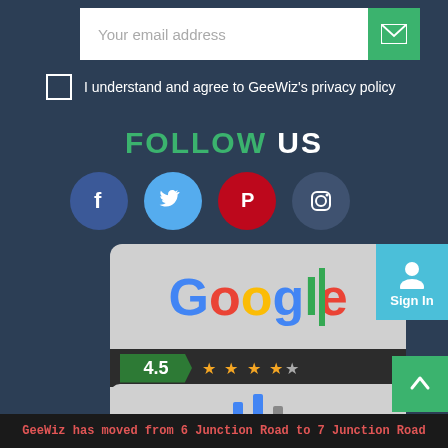[Figure (screenshot): Email input field with green send button]
I understand and agree to GeeWiz's privacy policy
FOLLOW US
[Figure (illustration): Four social media icons: Facebook (blue circle), Twitter (light blue circle), Pinterest (red circle), Instagram (dark blue circle)]
[Figure (screenshot): Google logo with 4.5 star rating badge and 1000+ reviews label on a grey card]
[Figure (screenshot): Partial grey card at bottom showing bar chart elements]
[Figure (screenshot): Cyan Sign In button with person icon]
[Figure (screenshot): Green scroll-up arrow button]
GeeWiz has moved from 6 Junction Road to 7 Junction Road